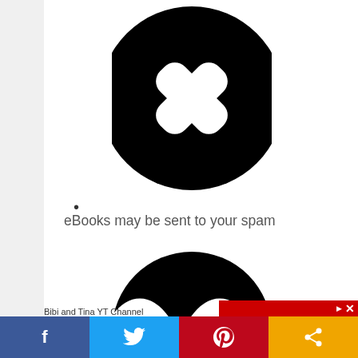[Figure (illustration): Large black circle with white X (close/cancel icon)]
eBooks may be sent to your spam
[Figure (illustration): Partially visible black circle with white zigzag/wave pattern (another icon, cropped at bottom)]
Bibi and Tina YT Channel
[Figure (screenshot): Social media share bar with Facebook (blue), Twitter (light blue), Pinterest (red), and share (orange) buttons at bottom of page]